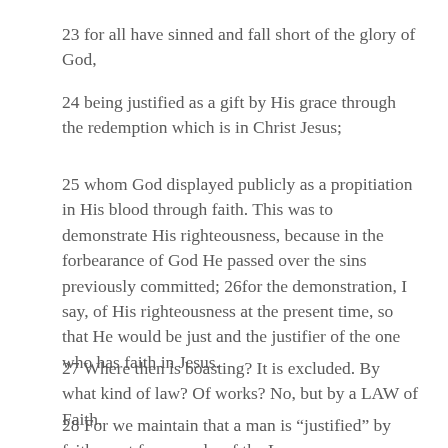23 for all have sinned and fall short of the glory of God,
24 being justified as a gift by His grace through the redemption which is in Christ Jesus;
25 whom God displayed publicly as a propitiation in His blood through faith. This was to demonstrate His righteousness, because in the forbearance of God He passed over the sins previously committed; 26for the demonstration, I say, of His righteousness at the present time, so that He would be just and the justifier of the one who has faith in Jesus.
27 Where then is boasting? It is excluded. By what kind of law? Of works? No, but by a LAW of Faith.
28 For we maintain that a man is “justified” by faith apart from works of the Law.